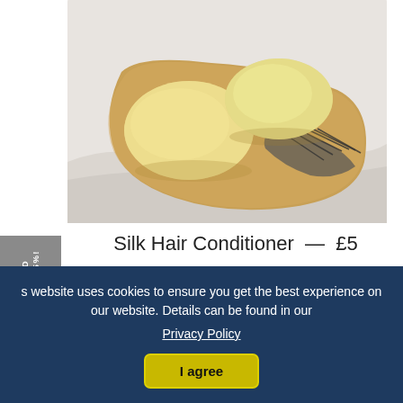[Figure (photo): Two round solid conditioner bars resting on a wooden hairbrush on white fabric background]
Silk Hair Conditioner  —  £5
★★★★★ 7 reviews
REFER A FRIEND
GIVE 15%, GET 15%!
s website uses cookies to ensure you get the best experience on our website. Details can be found in our
Privacy Policy
I agree